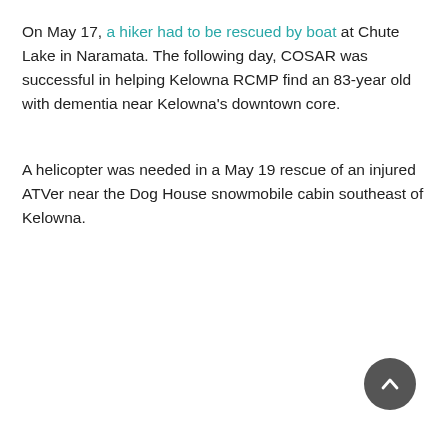On May 17, a hiker had to be rescued by boat at Chute Lake in Naramata. The following day, COSAR was successful in helping Kelowna RCMP find an 83-year old with dementia near Kelowna's downtown core.
A helicopter was needed in a May 19 rescue of an injured ATVer near the Dog House snowmobile cabin southeast of Kelowna.